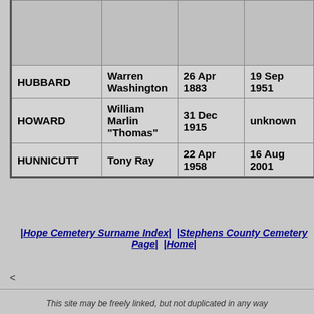| Surname | Given Name | Birth | Death |
| --- | --- | --- | --- |
|  |  |  |  |
| HUBBARD | Warren Washington | 26 Apr 1883 | 19 Sep 1951 |
| HOWARD | William Marlin "Thomas" | 31 Dec 1915 | unknown |
| HUNNICUTT | Tony Ray | 22 Apr 1958 | 16 Aug 2001 |
|Hope Cemetery Surname Index|  |Stephens County Cemetery Page|  |Home|
<
This site may be freely linked, but not duplicated in any way